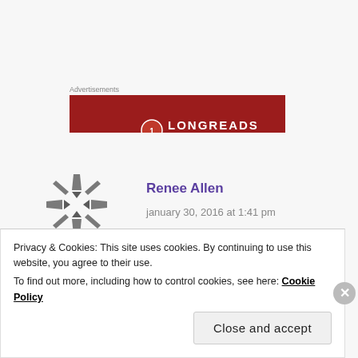Advertisements
[Figure (logo): Longreads advertisement banner with red background and Longreads logo at the bottom center]
Renee Allen
january 30, 2016 at 1:41 pm
Freaking LOVE the black glitter glove. Can't wait
Privacy & Cookies: This site uses cookies. By continuing to use this website, you agree to their use.
To find out more, including how to control cookies, see here: Cookie Policy
Close and accept